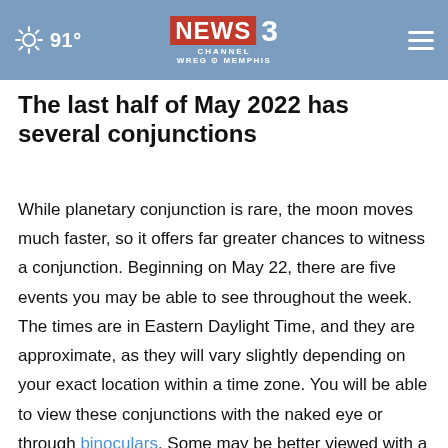91° NEWS CHANNEL 3 WREG MEMPHIS
The last half of May 2022 has several conjunctions
While planetary conjunction is rare, the moon moves much faster, so it offers far greater chances to witness a conjunction. Beginning on May 22, there are five events you may be able to see throughout the week. The times are in Eastern Daylight Time, and they are approximate, as they will vary slightly depending on your exact location within a time zone. You will be able to view these conjunctions with the naked eye or through binoculars. Some may be better viewed with a telescope.